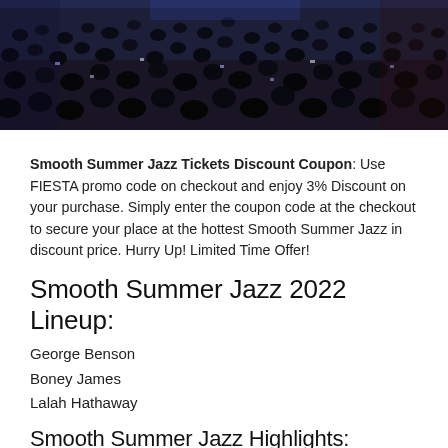[Figure (photo): Concert crowd viewed from stage, audience in dark arena with blue-tinted stage lighting]
Smooth Summer Jazz Tickets Discount Coupon: Use FIESTA promo code on checkout and enjoy 3% Discount on your purchase. Simply enter the coupon code at the checkout to secure your place at the hottest Smooth Summer Jazz in discount price. Hurry Up! Limited Time Offer!
Smooth Summer Jazz 2022 Lineup:
George Benson
Boney James
Lalah Hathaway
Smooth Summer Jazz Highlights:
[Figure (photo): Three panel image showing nighttime scenes and outdoor venue with hills in background and a red circular logo/sign]